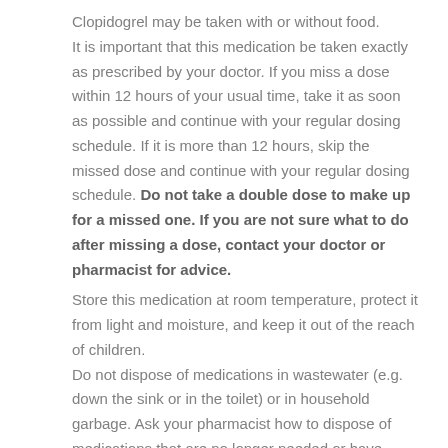Clopidogrel may be taken with or without food. It is important that this medication be taken exactly as prescribed by your doctor. If you miss a dose within 12 hours of your usual time, take it as soon as possible and continue with your regular dosing schedule. If it is more than 12 hours, skip the missed dose and continue with your regular dosing schedule. Do not take a double dose to make up for a missed one. If you are not sure what to do after missing a dose, contact your doctor or pharmacist for advice.
Store this medication at room temperature, protect it from light and moisture, and keep it out of the reach of children. Do not dispose of medications in wastewater (e.g. down the sink or in the toilet) or in household garbage. Ask your pharmacist how to dispose of medications that are no longer needed or have expired.
Who should NOT take this medication?
Do not take clopidogrel if you: